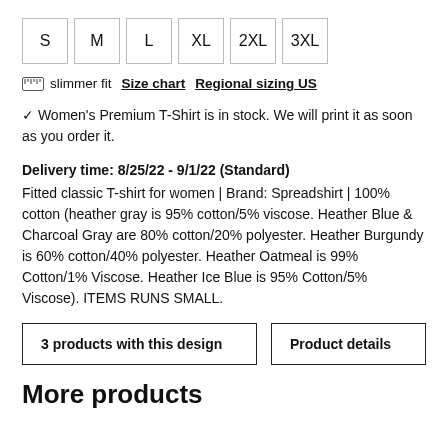S  M  L  XL  2XL  3XL (size selector boxes)
📏 slimmer fit   Size chart   Regional sizing US
✓ Women's Premium T-Shirt is in stock. We will print it as soon as you order it.
Delivery time: 8/25/22 - 9/1/22 (Standard)
Fitted classic T-shirt for women | Brand: Spreadshirt | 100% cotton (heather gray is 95% cotton/5% viscose. Heather Blue & Charcoal Gray are 80% cotton/20% polyester. Heather Burgundy is 60% cotton/40% polyester. Heather Oatmeal is 99% Cotton/1% Viscose. Heather Ice Blue is 95% Cotton/5% Viscose). ITEMS RUNS SMALL.
3 products with this design   Product details
More products